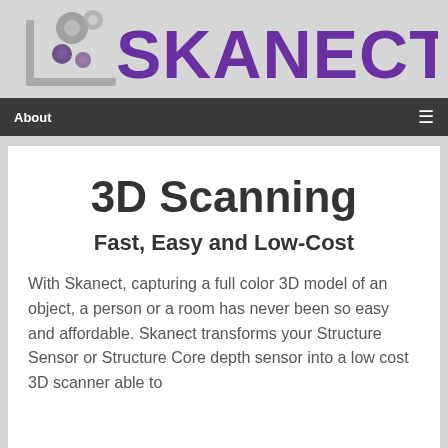[Figure (logo): Skanect logo with stylized bracket icon and purple SKANECT text]
About  ☰
3D Scanning
Fast, Easy and Low-Cost
With Skanect, capturing a full color 3D model of an object, a person or a room has never been so easy and affordable. Skanect transforms your Structure Sensor or Structure Core depth sensor into a low cost 3D scanner able to